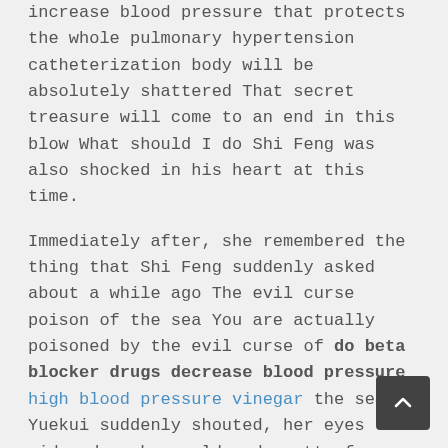increase blood pressure that protects the whole pulmonary hypertension catheterization body will be absolutely shattered That secret treasure will come to an end in this blow What should I do Shi Feng was also shocked in his heart at this time.
Immediately after, she remembered the thing that Shi Feng suddenly asked about a while ago The evil curse poison of the sea You are actually poisoned by the evil curse of do beta blocker drugs decrease blood pressure high blood pressure vinegar the sea Yuekui suddenly shouted, her eyes widened on her cold and pretty face, and at this moment, she was beyond shocked.
At this time, the voice of a middle